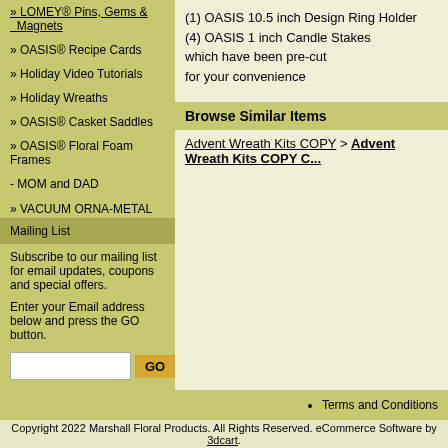» LOMEY® Pins, Gems & Magnets
» OASIS® Recipe Cards
» Holiday Video Tutorials
» Holiday Wreaths
» OASIS® Casket Saddles
» OASIS® Floral Foam Frames
- MOM and DAD
» VACUUM ORNA-METAL Gold and Silver Plastic
Mailing List
Subscribe to our mailing list for email updates, coupons and special offers.
Enter your Email address below and press the GO button.
(1) OASIS 10.5 inch Design Ring Holder
(4) OASIS 1 inch Candle Stakes
which have been pre-cut
for your convenience
Browse Similar Items
Advent Wreath Kits COPY > Advent Wreath Kits COPY C...
Terms and Conditions
Copyright 2022 Marshall Floral Products. All Rights Reserved. eCommerce Software by 3dcart.